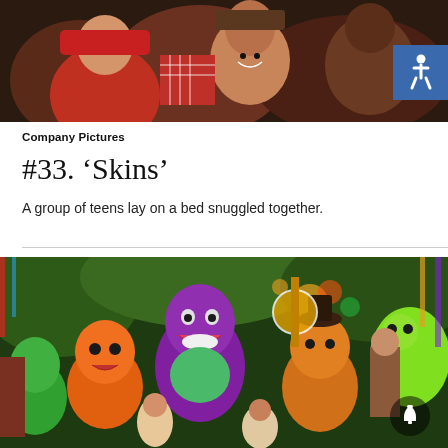[Figure (photo): Group of young women at a party, lying on a bed, colorful outfits, dark background]
Company Pictures
#33. ‘Skins’
A group of teens lay on a bed snuggled together.
[Figure (photo): Colorful costumed characters including Barney the purple dinosaur and other mascots at an outdoor event with children and adults]